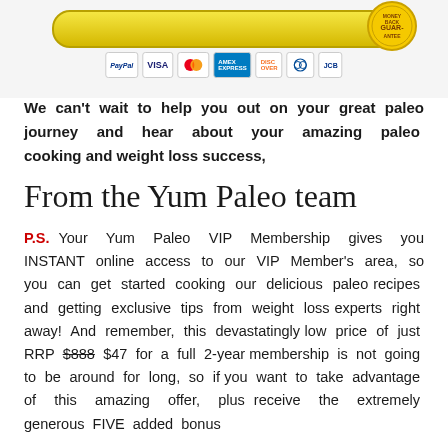[Figure (illustration): Yellow rounded button/bar with a gold guarantee badge on the right, and a row of payment method icons below (PayPal, VISA, MasterCard, American Express, Discover, Diners Club, JCB)]
We can't wait to help you out on your great paleo journey and hear about your amazing paleo cooking and weight loss success,
From the Yum Paleo team
P.S. Your Yum Paleo VIP Membership gives you INSTANT online access to our VIP Member's area, so you can get started cooking our delicious paleo recipes and getting exclusive tips from weight loss experts right away! And remember, this devastatingly low price of just RRP $888 $47 for a full 2-year membership is not going to be around for long, so if you want to take advantage of this amazing offer, plus receive the extremely generous FIVE added bonus